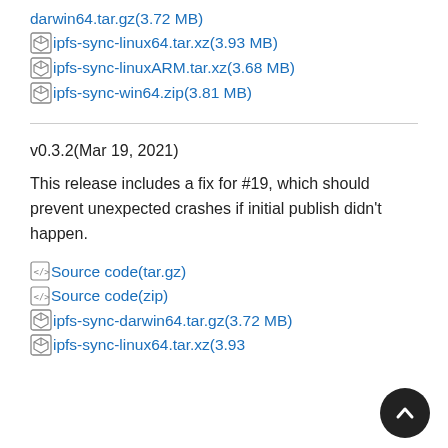darwin64.tar.gz(3.72 MB)
ipfs-sync-linux64.tar.xz(3.93 MB)
ipfs-sync-linuxARM.tar.xz(3.68 MB)
ipfs-sync-win64.zip(3.81 MB)
v0.3.2(Mar 19, 2021)
This release includes a fix for #19, which should prevent unexpected crashes if initial publish didn't happen.
Source code(tar.gz)
Source code(zip)
ipfs-sync-darwin64.tar.gz(3.72 MB)
ipfs-sync-linux64.tar.xz(3.93